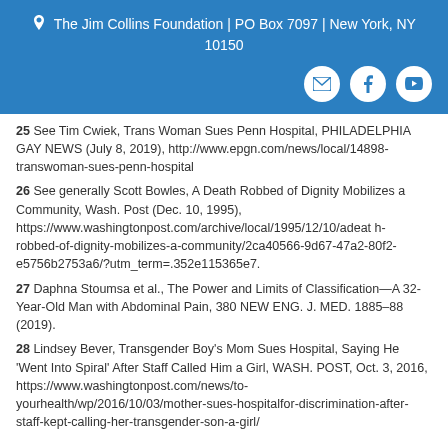The Jim Collins Foundation | PO Box 7097 | New York, NY 10150
25 See Tim Cwiek, Trans Woman Sues Penn Hospital, PHILADELPHIA GAY NEWS (July 8, 2019), http://www.epgn.com/news/local/14898-transwoman-sues-penn-hospital
26 See generally Scott Bowles, A Death Robbed of Dignity Mobilizes a Community, Wash. Post (Dec. 10, 1995), https://www.washingtonpost.com/archive/local/1995/12/10/adeath-robbed-of-dignity-mobilizes-a-community/2ca40566-9d67-47a2-80f2-e5756b2753a6/?utm_term=.352e115365e7.
27 Daphna Stoumsa et al., The Power and Limits of Classification—A 32-Year-Old Man with Abdominal Pain, 380 NEW ENG. J. MED. 1885–88 (2019).
28 Lindsey Bever, Transgender Boy's Mom Sues Hospital, Saying He 'Went Into Spiral' After Staff Called Him a Girl, WASH. POST, Oct. 3, 2016, https://www.washingtonpost.com/news/to-yourhealth/wp/2016/10/03/mother-sues-hospitalfor-discrimination-after-staff-kept-calling-her-transgender-son-a-girl/